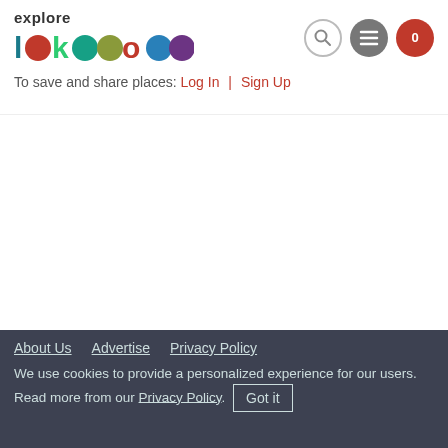explore lake como — To save and share places: Log In | Sign Up
[Figure (photo): Blank/white area placeholder for a photo of walking towards San Martino with mountains in the distance]
Walking towards San Martino with mountains in the distance.
The hike, or more appropriately walk, to San Martino is relatively short at about 45 minutes up
About Us   Advertise   Privacy Policy
We use cookies to provide a personalized experience for our users. Read more from our Privacy Policy. Got it